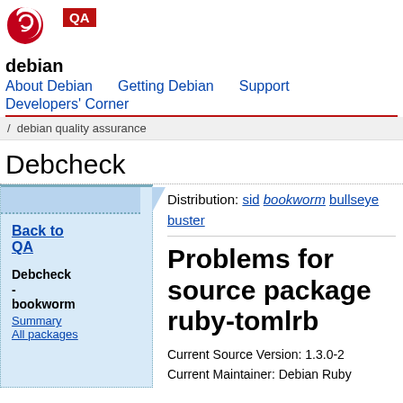[Figure (logo): Debian swirl logo (red and white spiral)]
[Figure (logo): QA badge, dark red background, white text]
debian
About Debian   Getting Debian   Support
Developers' Corner
/ debian quality assurance
Debcheck
Back to QA
Debcheck - bookworm
Summary
All packages
Distribution: sid bookworm bullseye buster
Problems for source package ruby-tomlrb
Current Source Version: 1.3.0-2
Current Maintainer: Debian Ruby